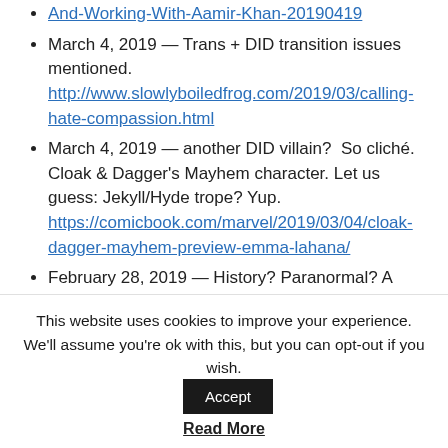And-Working-With-Aamir-Khan-20190419 (link, top truncated)
March 4, 2019 — Trans + DID transition issues mentioned. http://www.slowlyboiledfrog.com/2019/03/calling-hate-compassion.html
March 4, 2019 — another DID villain? So cliché. Cloak & Dagger's Mayhem character. Let us guess: Jekyll/Hyde trope? Yup. https://comicbook.com/marvel/2019/03/04/cloak-dagger-mayhem-preview-emma-lahana/
February 28, 2019 — History? Paranormal? A real thoughtform manifesting outside the body? who knows https://www.thesun.co.uk/news/8405640/... (truncated)
This website uses cookies to improve your experience. We'll assume you're ok with this, but you can opt-out if you wish. Accept
Read More